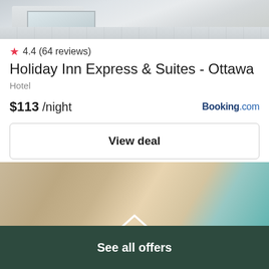[Figure (photo): Top portion of a hotel room photo showing tiled floor and window]
★ 4.4 (64 reviews)
Holiday Inn Express & Suites - Ottawa
Hotel
$113 /night
Booking.com
View deal
[Figure (photo): Blurred hotel room interior with warm tones and teal artwork, showing a house icon overlay]
See all offers